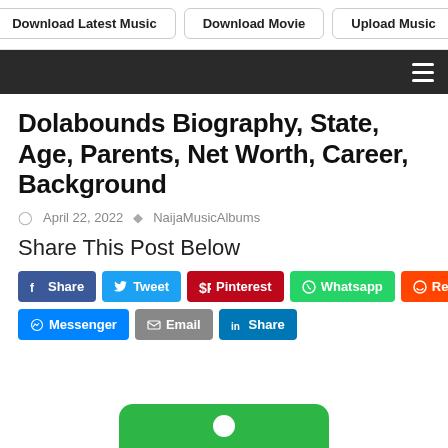Download Latest Music | Download Movie | Upload Music
Dolabounds Biography, State, Age, Parents, Net Worth, Career, Background
April 22, 2022  NaijaMusicAlbums
Share This Post Below
Share  Tweet  Pinterest  Whatsapp  Reddit  Messenger  Email  Share